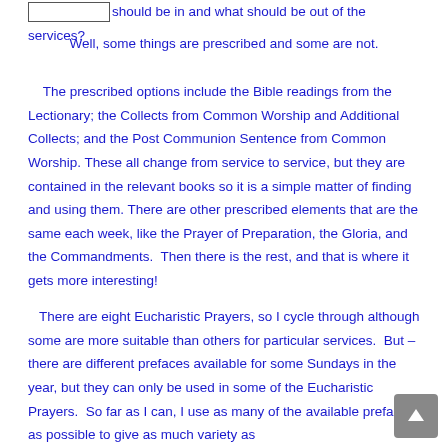[box] should be in and what should be out of the services?
Well, some things are prescribed and some are not.
The prescribed options include the Bible readings from the Lectionary; the Collects from Common Worship and Additional Collects; and the Post Communion Sentence from Common Worship. These all change from service to service, but they are contained in the relevant books so it is a simple matter of finding and using them. There are other prescribed elements that are the same each week, like the Prayer of Preparation, the Gloria, and the Commandments.  Then there is the rest, and that is where it gets more interesting!
There are eight Eucharistic Prayers, so I cycle through although some are more suitable than others for particular services.  But – there are different prefaces available for some Sundays in the year, but they can only be used in some of the Eucharistic Prayers.  So far as I can, I use as many of the available prefaces as possible to give as much variety as